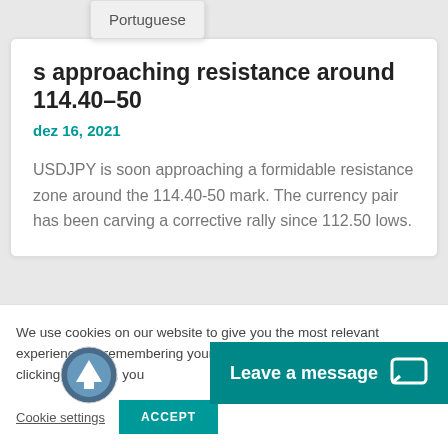Portuguese
s approaching resistance around 114.40–50
dez 16, 2021
USDJPY is soon approaching a formidable resistance zone around the 114.40-50 mark. The currency pair has been carving a corrective rally since 112.50 lows.
We use cookies on our website to give you the most relevant experience by remembering your preferences and repeat visits. By clicking “Accept”, you
Cookie settings
ACCEPT
Leave a message